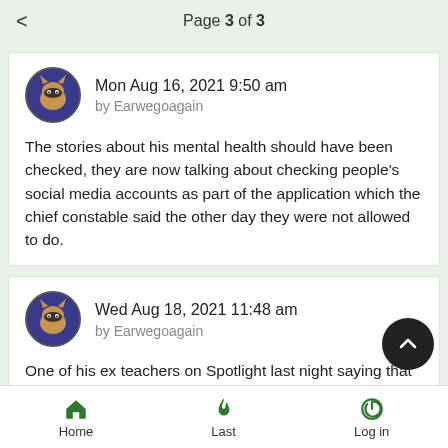Page 3 of 3
Mon Aug 16, 2021 9:50 am
by Earwegoagain

The stories about his mental health should have been checked, they are now talking about checking people's social media accounts as part of the application which the chief constable said the other day they were not allowed to do.
Wed Aug 18, 2021 11:48 am
by Earwegoagain

One of his ex teachers on Spotlight last night saying that he amazed he was given a licence with his past history of OCD and
Home   Last   Log in